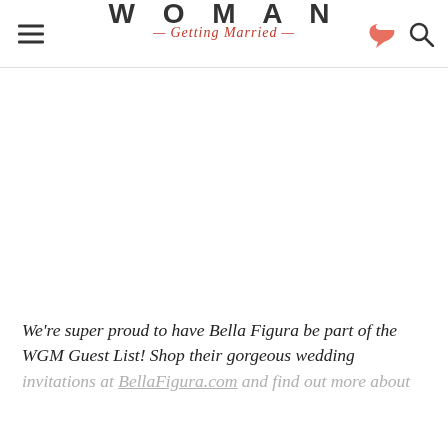WOMAN Getting Married
[Figure (other): Large white/blank image area below the header]
We're super proud to have Bella Figura be part of the WGM Guest List! Shop their gorgeous wedding invitations at BellaFigura.com and find out more about